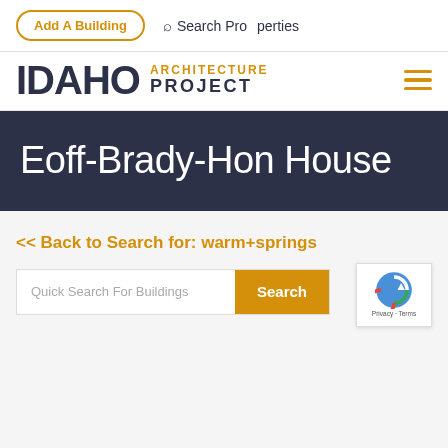Add A Building   Search Properties
[Figure (logo): Idaho Architecture Project logo with IDAHO in large bold dark text and ARCHITECTURE PROJECT in gold and dark text beside it, with hamburger menu icon on the right]
Eoff-Brady-Hon House
<< Back to Search for: warm+springs
Quick Search For Buildings   Search